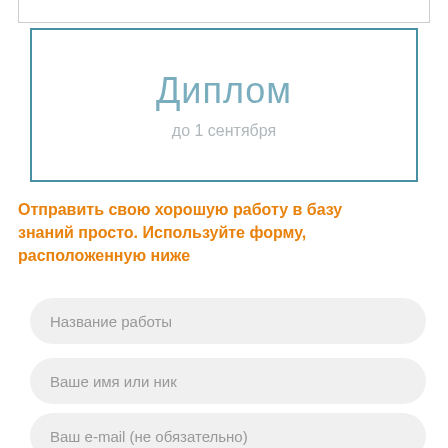[Figure (other): Partially visible top bar with teal border and bold teal text (cut off at top)]
Диплом
до 1 сентября
Отправить свою хорошую работу в базу знаний просто. Используйте форму, расположенную ниже
Название работы
Ваше имя или ник
Ваш e-mail (не обязательно)